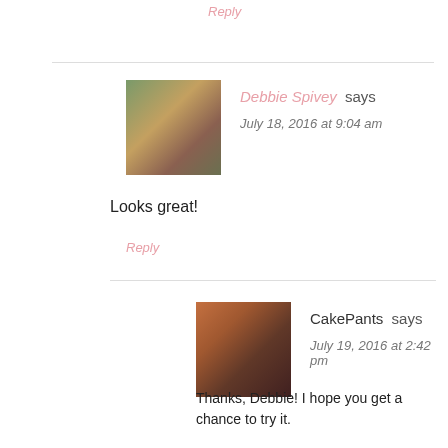Reply
Debbie Spivey says
July 18, 2016 at 9:04 am
Looks great!
Reply
CakePants says
July 19, 2016 at 2:42 pm
Thanks, Debbie! I hope you get a chance to try it.